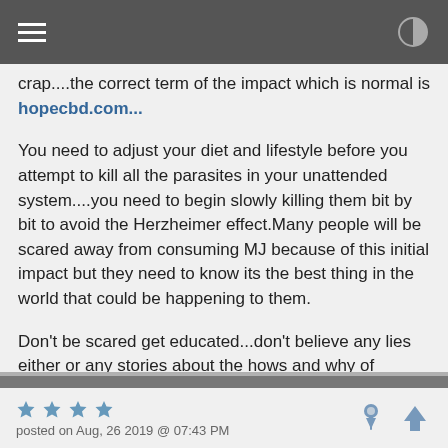navigation bar with hamburger menu and contrast icon
crap....the correct term of the impact which is normal is hopecbd.com...

You need to adjust your diet and lifestyle before you attempt to kill all the parasites in your unattended system....you need to begin slowly killing them bit by bit to avoid the Herzheimer effect.Many people will be scared away from consuming MJ because of this initial impact but they need to know its the best thing in the world that could be happening to them.

Don't be scared get educated...don't believe any lies either or any stories about the hows and why of getting ill after eating MJ....just learn the basics and then keep properly consuming what is the single best medicinal anti-parasitic food on Earth.
RickyD — posted on Aug, 26 2019 @ 07:43 PM